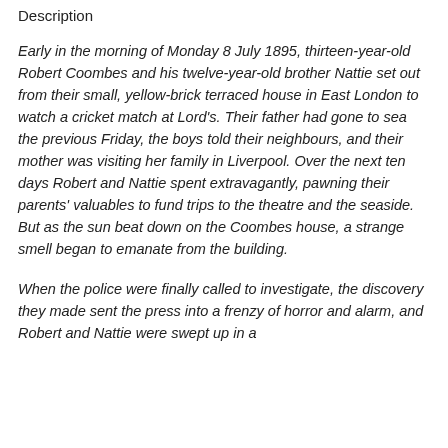Description
Early in the morning of Monday 8 July 1895, thirteen-year-old Robert Coombes and his twelve-year-old brother Nattie set out from their small, yellow-brick terraced house in East London to watch a cricket match at Lord's. Their father had gone to sea the previous Friday, the boys told their neighbours, and their mother was visiting her family in Liverpool. Over the next ten days Robert and Nattie spent extravagantly, pawning their parents' valuables to fund trips to the theatre and the seaside. But as the sun beat down on the Coombes house, a strange smell began to emanate from the building.
When the police were finally called to investigate, the discovery they made sent the press into a frenzy of horror and alarm, and Robert and Nattie were swept up in a